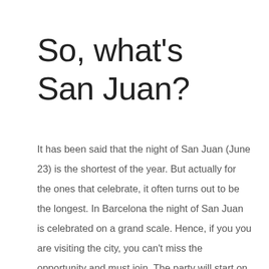So, what's San Juan?
It has been said that the night of San Juan (June 23) is the shortest of the year. But actually for the ones that celebrate, it often turns out to be the longest. In Barcelona the night of San Juan is celebrated on a grand scale. Hence, if you you are visiting the city, you can't miss the opportunity and must join. The party will start on the afternoon of June 23rd. However long you celebrate, we will wait for you at Hotel Grums !